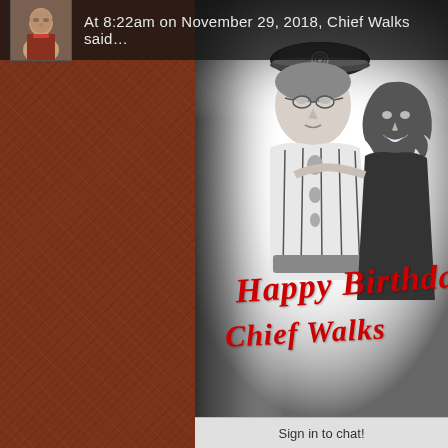At 8:22am on November 29, 2018, Chief Walks said…
[Figure (photo): Sketch-style black and white portrait of two people: an older person in traditional Native American regalia with a decorative hat, and a younger woman smiling beside them. Red cursive text reads 'Happy Birthday Chief Walks' overlaid on the image.]
Sign in to chat!